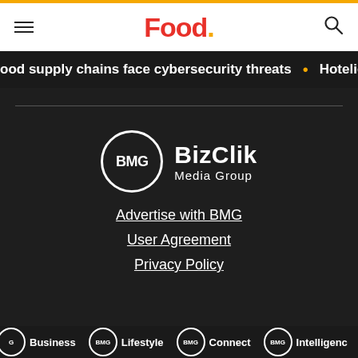Food.
ood supply chains face cybersecurity threats • Hoteliers
[Figure (logo): BizClik Media Group logo with BMG circle badge and text BizClik Media Group]
Advertise with BMG
User Agreement
Privacy Policy
BMG Business • BMG Lifestyle • BMG Connect • BMG Intelligence